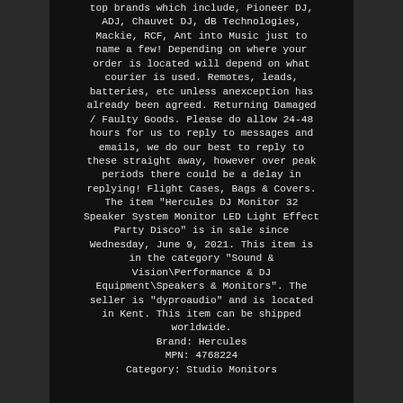top brands which include, Pioneer DJ, ADJ, Chauvet DJ, dB Technologies, Mackie, RCF, Ant into Music just to name a few! Depending on where your order is located will depend on what courier is used. Remotes, leads, batteries, etc unless anexception has already been agreed. Returning Damaged / Faulty Goods. Please do allow 24-48 hours for us to reply to messages and emails, we do our best to reply to these straight away, however over peak periods there could be a delay in replying! Flight Cases, Bags & Covers. The item "Hercules DJ Monitor 32 Speaker System Monitor LED Light Effect Party Disco" is in sale since Wednesday, June 9, 2021. This item is in the category "Sound & Vision\Performance & DJ Equipment\Speakers & Monitors". The seller is "dyproaudio" and is located in Kent. This item can be shipped worldwide.
Brand: Hercules
MPN: 4768224
Category: Studio Monitors